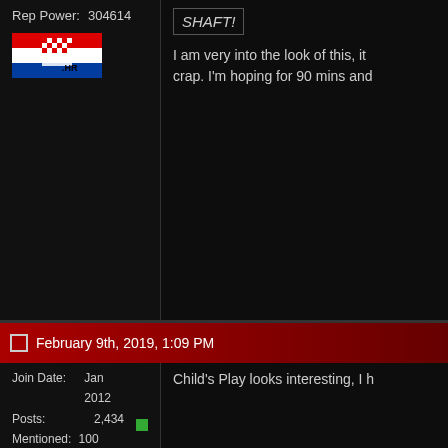Rep Power: 304614
[Figure (illustration): Croatian flag (.HR) badge/icon]
SHAFT!
I am very into the look of this, it crap. I'm hoping for 90 mins and
February 9th, 2019, 1:09 PM
Melly
Intercontinental Champion
[Figure (photo): Avatar of Melly - blonde person at poolside]
Join Date: Jan 2012
Posts: 2,434
Mentioned: 100 Post(s)
Tagged: 0 Thread(s)
Rep Power: 640522
Child's Play looks interesting, I h